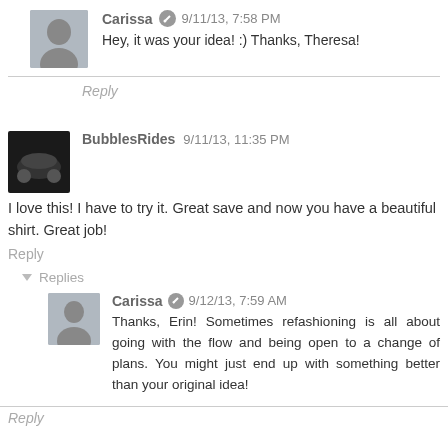Carissa 9/11/13, 7:58 PM
Hey, it was your idea! :) Thanks, Theresa!
Reply
BubblesRides 9/11/13, 11:35 PM
I love this! I have to try it. Great save and now you have a beautiful shirt. Great job!
Reply
Replies
Carissa 9/12/13, 7:59 AM
Thanks, Erin! Sometimes refashioning is all about going with the flow and being open to a change of plans. You might just end up with something better than your original idea!
Reply